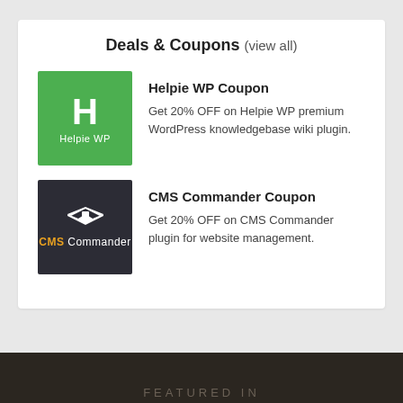Deals & Coupons (view all)
[Figure (logo): Helpie WP logo: green square with white H letter and 'Helpie WP' text]
Helpie WP Coupon
Get 20% OFF on Helpie WP premium WordPress knowledgebase wiki plugin.
[Figure (logo): CMS Commander logo: dark square with wings/star icon and 'CMS Commander' text in white and orange]
CMS Commander Coupon
Get 20% OFF on CMS Commander plugin for website management.
FEATURED IN